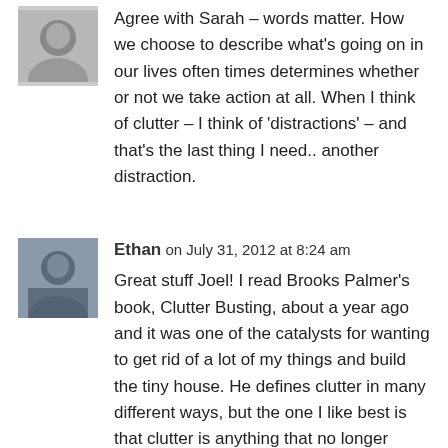[Figure (photo): Small avatar photo of a person (grayscale/dark tones), top-left area]
Agree with Sarah – words matter. How we choose to describe what's going on in our lives often times determines whether or not we take action at all. When I think of clutter – I think of 'distractions' – and that's the last thing I need.. another distraction.
[Figure (photo): Small avatar photo of Ethan (color, person wearing jacket), second comment]
Ethan on July 31, 2012 at 8:24 am
Great stuff Joel! I read Brooks Palmer's book, Clutter Busting, about a year ago and it was one of the catalysts for wanting to get rid of a lot of my things and build the tiny house. He defines clutter in many different ways, but the one I like best is that clutter is anything that no longer serves you. (text continues below)